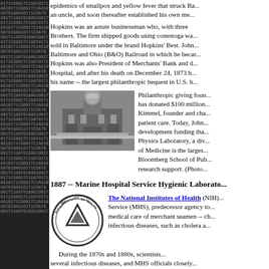[Figure (other): Left sidebar with repeating DNA/binary-like text pattern on dark background]
epidemics of smallpox and yellow fever that struck Baltimore. He apprenticed with an uncle, and soon thereafter established his own me...
Hopkins was an astute businessman who, with three Brothers. The firm shipped goods using conestoga wa... sold in Baltimore under the brand Hopkins' Best. John... Baltimore and Ohio (B&O) Railroad in which he beca... Hopkins was also President of Merchants' Bank and ... Hospital, and after his death on December 24, 1873 h... his name -- the largest philanthropic bequest in U.S. h...
[Figure (photo): Black and white historical photograph of what appears to be a large domed institutional building (likely Johns Hopkins Hospital)]
Philanthropic giving foun... has donated $100 million... Kimmel, founder and cha... patient care. Today, John... development funding tha... Physics Laboratory, a div... of Medicine is the larges... Bloomberg School of Pub... research support. (Photo...
1887 -- Marine Hospital Service Hygienic Laborato...
[Figure (logo): National Institutes of Health (NIH) circular logo]
The National Institutes of Health (NIH) ... Service (MHS), predecessor agency to ... medical care of merchant seamen -- ch... infectious diseases, such as cholera a...
During the 1870s and 1880s, scientists... several infectious diseases, and MHS officials closely... bacteriological methods, set up a one-room laborato...